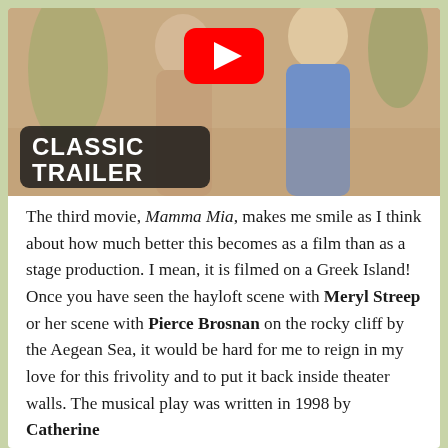[Figure (screenshot): YouTube thumbnail showing two women embracing, with 'CLASSIC TRAILER' text overlay on dark rounded rectangle background and YouTube play button icon in red]
The third movie, Mamma Mia, makes me smile as I think about how much better this becomes as a film than as a stage production. I mean, it is filmed on a Greek Island! Once you have seen the hayloft scene with Meryl Streep or her scene with Pierce Brosnan on the rocky cliff by the Aegean Sea, it would be hard for me to reign in my love for this frivolity and to put it back inside theater walls. The musical play was written in 1998 by Catherine